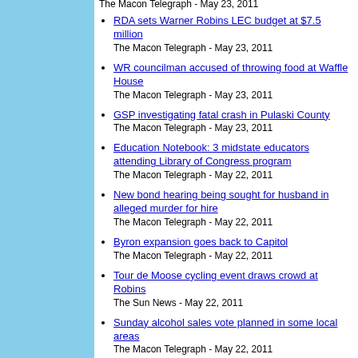The Macon Telegraph - May 23, 2011
RDA sets Warner Robins LEC budget at $7.5 million
The Macon Telegraph - May 23, 2011
WR councilman accused of throwing food at Waffle House
The Macon Telegraph - May 23, 2011
GSP investigating fatal crash in Pulaski County
The Macon Telegraph - May 23, 2011
Education Notebook: 3 midstate educators attending Library of Congress program
The Macon Telegraph - May 22, 2011
New bond hearing being sought for husband in alleged murder for hire
The Macon Telegraph - May 22, 2011
Byron expansion goes back to Capitol
The Macon Telegraph - May 22, 2011
Tour de Moose cycling event draws crowd at Robins
The Sun News - May 22, 2011
Sunday alcohol sales vote planned in some local areas
The Macon Telegraph - May 22, 2011